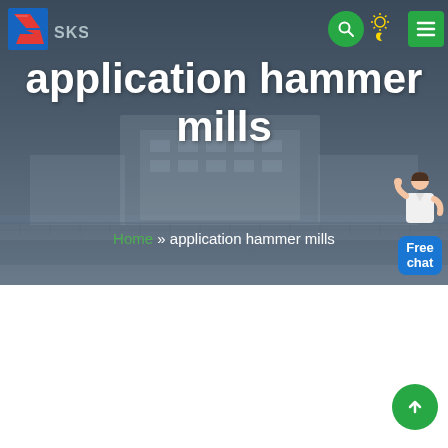[Figure (logo): SKS company logo with red/blue zigzag S icon and grey SKS text]
application hammer mills
Home » application hammer mills
[Figure (photo): Industrial hammer mill equipment inside a large factory/warehouse with steel roof structure, showing a dark cylindrical mill unit]